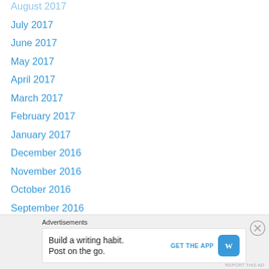August 2017
July 2017
June 2017
May 2017
April 2017
March 2017
February 2017
January 2017
December 2016
November 2016
October 2016
September 2016
August 2016
July 2016
June 2016
May 2016
April 2016
Advertisements
Build a writing habit. Post on the go. GET THE APP